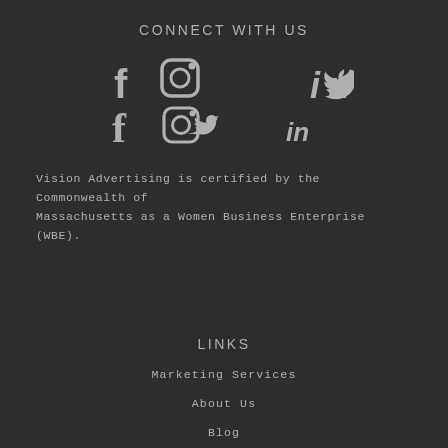CONNECT WITH US
[Figure (infographic): Social media icons: Facebook, Instagram, Twitter, LinkedIn]
Vision Advertising is certified by the Commonwealth of Massachusetts as a Women Business Enterprise (WBE).
LINKS
Marketing Services
About Us
Blog
Contact Us